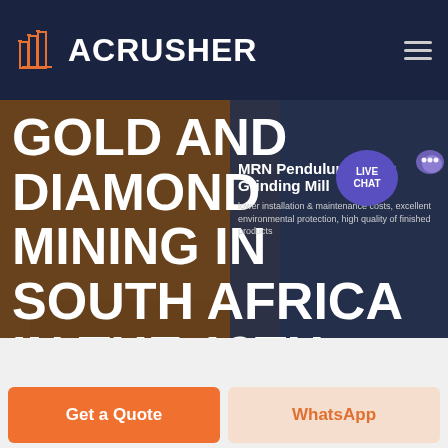ACRUSHER
GOLD AND DIAMOND MINING IN SOUTH AFRICA IN THE 19TH CENTURY
MRN Pendulum Roller Grinding Mill
lower installation & maintenance costs, excellent environmental protection, high quality of finished products
HOME / PRODUCTS
Get a Quote
WhatsApp